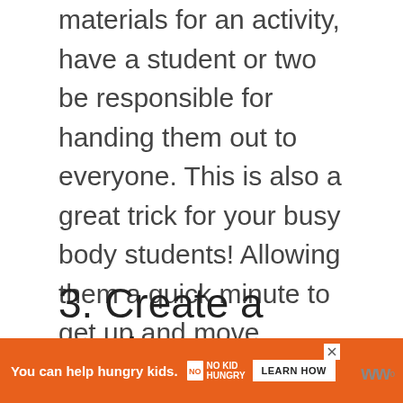materials for an activity, have a student or two be responsible for handing them out to everyone. This is also a great trick for your busy body students! Allowing them a quick minute to get up and move around the room before the next section of the lesson clears their brains and provides an aspect of leadership.
3. Create a student government